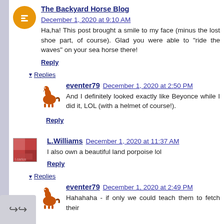The Backyard Horse Blog  December 1, 2020 at 9:10 AM
Ha,ha! This post brought a smile to my face (minus the lost shoe part, of course). Glad you were able to "ride the waves" on your sea horse there!
Reply
Replies
eventer79  December 1, 2020 at 2:50 PM
And I definitely looked exactly like Beyonce while I did it, LOL (with a helmet of course!).
Reply
L.Williams  December 1, 2020 at 11:37 AM
I also own a beautiful land porpoise lol
Reply
Replies
eventer79  December 1, 2020 at 2:49 PM
Hahahaha - if only we could teach them to fetch their